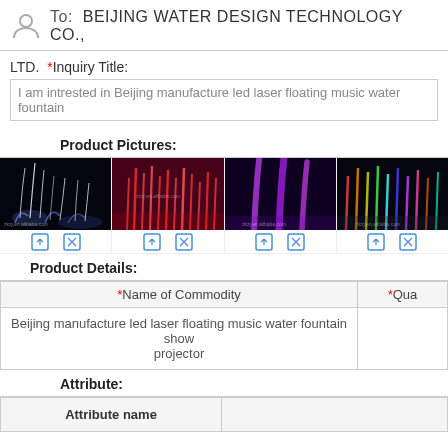To:  BEIJING WATER DESIGN TECHNOLOGY CO.,
LTD.  *Inquiry Title:
I am intrested in Beijing manufacture led laser floating music water fountain
Product Pictures:
[Figure (photo): Four fountain product photos with upload/delete controls]
Product Details:
| *Name of Commodity | *Qua |
| --- | --- |
| Beijing manufacture led laser floating music water fountain show projector |  |
Attribute:
| Attribute name |  |
| --- | --- |